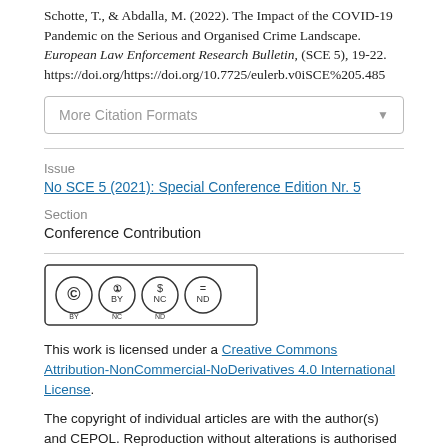Schotte, T., & Abdalla, M. (2022). The Impact of the COVID-19 Pandemic on the Serious and Organised Crime Landscape. European Law Enforcement Research Bulletin, (SCE 5), 19-22. https://doi.org/https://doi.org/10.7725/eulerb.v0iSCE%205.485
More Citation Formats
Issue
No SCE 5 (2021): Special Conference Edition Nr. 5
Section
Conference Contribution
[Figure (logo): Creative Commons BY NC ND license badge]
This work is licensed under a Creative Commons Attribution-NonCommercial-NoDerivatives 4.0 International License.
The copyright of individual articles are with the author(s) and CEPOL. Reproduction without alterations is authorised for non-